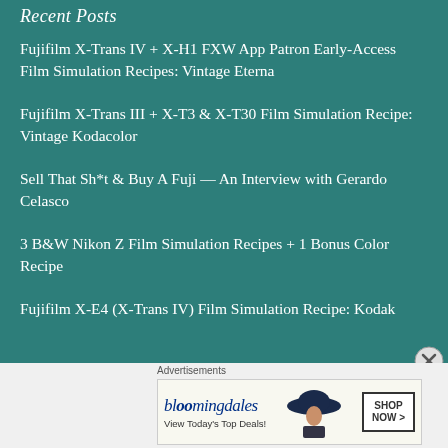Recent Posts
Fujifilm X-Trans IV + X-H1 FXW App Patron Early-Access Film Simulation Recipes: Vintage Eterna
Fujifilm X-Trans III + X-T3 & X-T30 Film Simulation Recipe: Vintage Kodacolor
Sell That Sh*t & Buy A Fuji — An Interview with Gerardo Celasco
3 B&W Nikon Z Film Simulation Recipes + 1 Bonus Color Recipe
Fujifilm X-E4 (X-Trans IV) Film Simulation Recipe: Kodak
[Figure (screenshot): Bloomingdale's advertisement banner: 'bloomingdales — View Today's Top Deals!' with a woman wearing a wide brim hat and a 'SHOP NOW >' button]
Advertisements